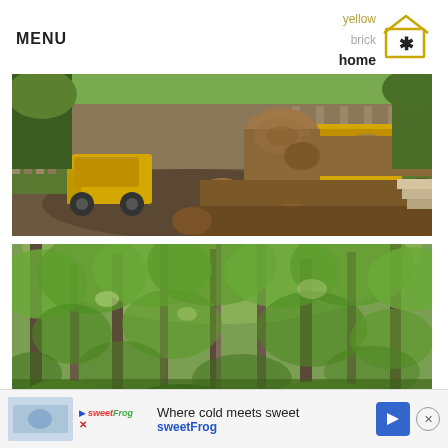MENU
[Figure (logo): Yellow Brick Home logo with house icon and star]
[Figure (photo): Backyard scene with large felled tree logs and a yellow skid steer loader, wooden fence in background]
[Figure (photo): Dense green forest with tall trees and lush foliage viewed from ground level]
Where cold meets sweet
sweetFrog